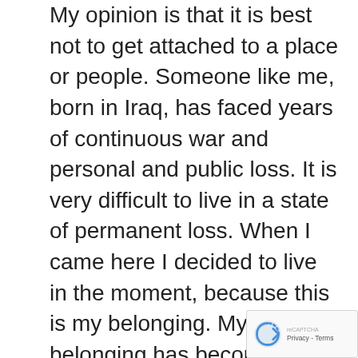My opinion is that it is best not to get attached to a place or people. Someone like me, born in Iraq, has faced years of continuous war and personal and public loss. It is very difficult to live in a state of permanent loss. When I came here I decided to live in the moment, because this is my belonging. My belonging has become more for time, for the moment, for my presence and what I do and what is happening at that moment. The constant feeling that I have lost something and I should return to it has died. Sometimes it drove me to depression and more isolation. That does not mean that I started living my life with absolutely no negativity.
I was no longer able to deal with the permanent loss, whether an emotional loss or a materialistic loss. I decided that at the moment of "enough", I should belong to the moment where I am present. This m— me feel at peace all the time, whether it's here or elsewhere. Honestly, personally, even in my own